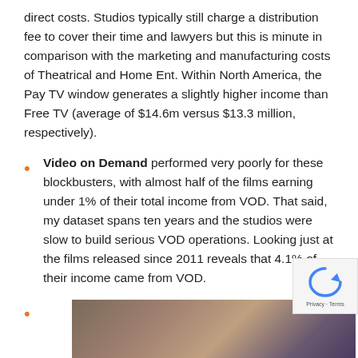direct costs.  Studios typically still charge a distribution fee to cover their time and lawyers but this is minute in comparison with the marketing and manufacturing costs of Theatrical and Home Ent.  Within North America, the Pay TV window generates a slightly higher income than Free TV (average of $14.6m versus $13.3 million, respectively).
Video on Demand performed very poorly for these blockbusters, with almost half of the films earning under 1% of their total income from VOD.  That said, my dataset spans ten years and the studios were slow to build serious VOD operations.  Looking just at the films released since 2011 reveals that 4.1% of their income came from VOD.
[Figure (photo): Partial photo of what appears to be DVD or Blu-ray cases on a store shelf or display.]